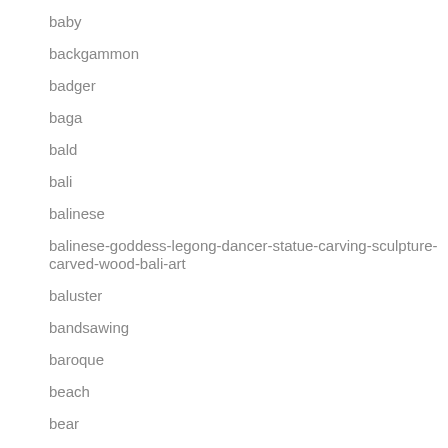baby
backgammon
badger
baga
bald
bali
balinese
balinese-goddess-legong-dancer-statue-carving-sculpture-carved-wood-bali-art
baluster
bandsawing
baroque
beach
bear
beautiful
beautifully
beaver